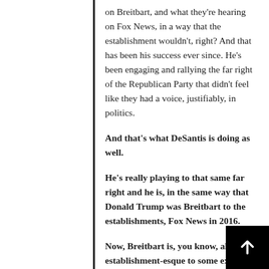on Breitbart, and what they're hearing on Fox News, in a way that the establishment wouldn't, right? And that has been his success ever since. He's been engaging and rallying the far right of the Republican Party that didn't feel like they had a voice, justifiably, in politics.
And that's what DeSantis is doing as well.
He's really playing to that same far right and he is, in the same way that Donald Trump was Breitbart to the establishments, Fox News in 2016.
Now, Breitbart is, you know, almost establishment-esque to some extent.